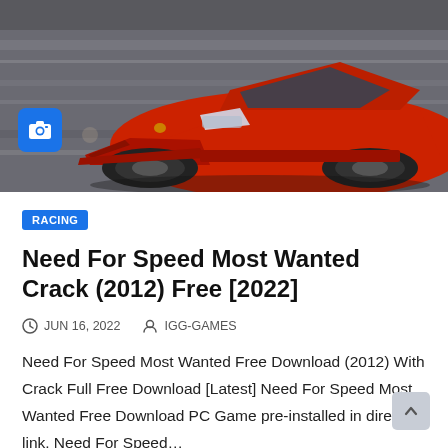[Figure (photo): Red sports car (Lamborghini) racing on a track, front low-angle view, motion blur in background. Blue camera icon badge in lower left corner of image.]
RACING
Need For Speed Most Wanted Crack (2012) Free [2022]
JUN 16, 2022   IGG-GAMES
Need For Speed Most Wanted Free Download (2012) With Crack Full Free Download [Latest] Need For Speed Most Wanted Free Download PC Game pre-installed in direct link. Need For Speed…